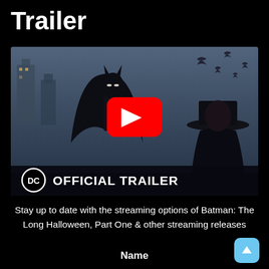Trailer
[Figure (screenshot): Batman: The Long Halloween animated movie trailer thumbnail showing Batman in dark costume with bats in background, a man in a fedora hat, YouTube play button overlay, DC logo and 'OFFICIAL TRAILER' text at bottom]
Stay up to date with the streaming options of Batman: The Long Halloween, Part One & other streaming releases
Name